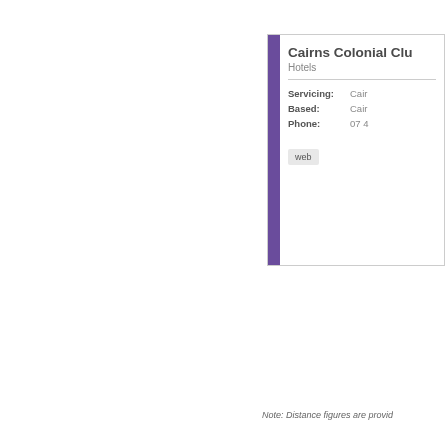Cairns Colonial Club
Hotels
Servicing: Cairns
Based: Cairns
Phone: 07 4...
web...
Note: Distance figures are provid...